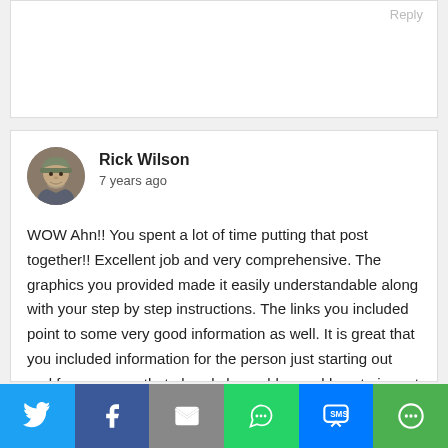Reply
[Figure (photo): Circular avatar photo of Rick Wilson, a man wearing a cap]
Rick Wilson
7 years ago
WOW Ahn!! You spent a lot of time putting that post together!! Excellent job and very comprehensive. The graphics you provided made it easily understandable along with your step by step instructions. The links you included point to some very good information as well. It is great that you included information for the person just starting out and for someone that already has a blog and how to import it into Wealthy Affiliate. I wish you best of
[Figure (infographic): Social sharing bar with Twitter, Facebook, Email, WhatsApp, SMS, and More buttons]